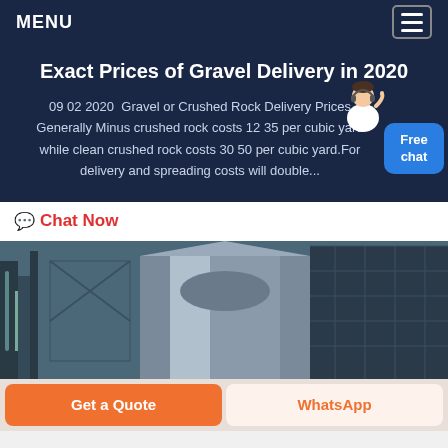MENU
Exact Prices of Gravel Delivery in 2020
09 02 2020  Gravel or Crushed Rock Delivery Prices Generally Minus crushed rock costs 12 35 per cubic yard while clean crushed rock costs 30 50 per cubic yard.For delivery and spreading costs will double...
Chat Now
[Figure (photo): Industrial gravel crushing plant equipment with large cylindrical silo structure and metal scaffolding]
Get a Quote
WhatsApp